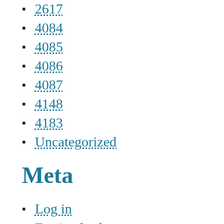2617
4084
4085
4086
4087
4148
4183
Uncategorized
Meta
Log in
Entries feed
Comments feed
WordPress.org